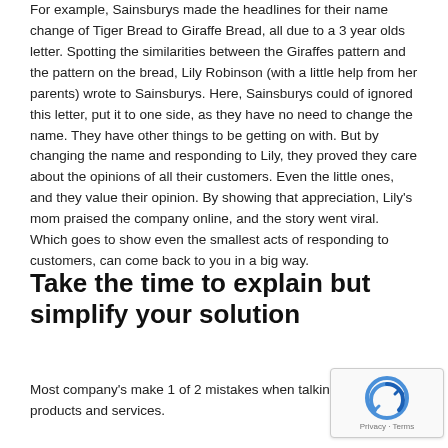For example, Sainsburys made the headlines for their name change of Tiger Bread to Giraffe Bread, all due to a 3 year olds letter. Spotting the similarities between the Giraffes pattern and the pattern on the bread, Lily Robinson (with a little help from her parents) wrote to Sainsburys. Here, Sainsburys could of ignored this letter, put it to one side, as they have no need to change the name. They have other things to be getting on with. But by changing the name and responding to Lily, they proved they care about the opinions of all their customers. Even the little ones, and they value their opinion. By showing that appreciation, Lily's mom praised the company online, and the story went viral. Which goes to show even the smallest acts of responding to customers, can come back to you in a big way.
Take the time to explain but simplify your solution
Most company's make 1 of 2 mistakes when talking about their products and services.